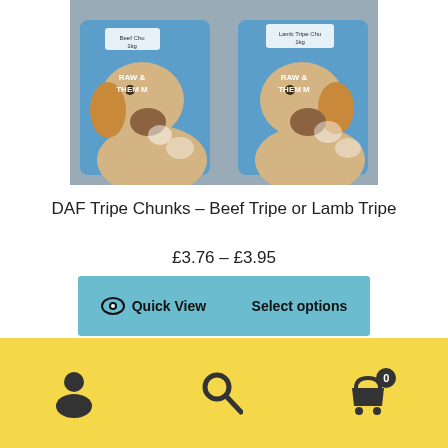[Figure (photo): Two blue bags of DAF Tripe Chunks dog food products (Beef Tripe and Lamb Tripe) with a yellow Labrador dog's face visible behind each bag]
DAF Tripe Chunks – Beef Tripe or Lamb Tripe
£3.76 – £3.95
Quick View   Select options
[Figure (infographic): Yellow bottom navigation bar with three icons: person/account icon, search magnifying glass icon, and shopping cart icon with badge showing 0]